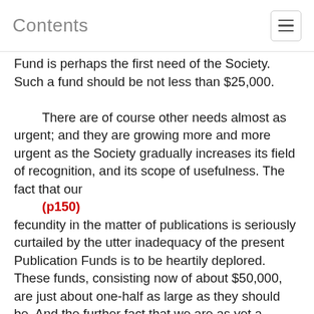Contents
Fund is perhaps the first need of the Society. Such a fund should be not less than $25,000.

There are of course other needs almost as urgent; and they are growing more and more urgent as the Society gradually increases its field of recognition, and its scope of usefulness. The fact that our
(p150)
fecundity in the matter of publications is seriously curtailed by the utter inadequacy of the present Publication Funds is to be heartily deplored. These funds, consisting now of about $50,000, are just about one-half as large as they should be. And the further fact that we are as yet a homeless body, having not where to lay our head, but dependent upon the indulgence of friends for a place of meeting, for a place for the safe-keeping of our growing library and cabinet, is one which we are bound to contemplate with increasing impatience.